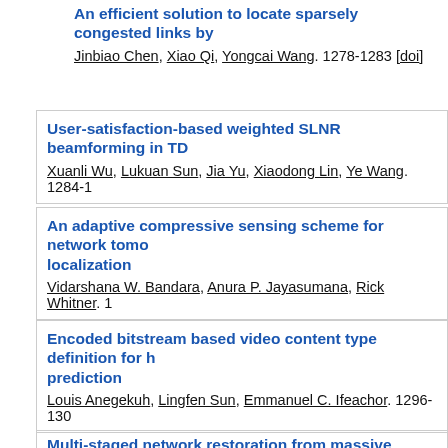An efficient solution to locate sparsely congested links by
Jinbiao Chen, Xiao Qi, Yongcai Wang. 1278-1283 [doi]
User-satisfaction-based weighted SLNR beamforming in TD
Xuanli Wu, Lukuan Sun, Jia Yu, Xiaodong Lin, Ye Wang. 1284-1
An adaptive compressive sensing scheme for network tomo localization
Vidarshana W. Bandara, Anura P. Jayasumana, Rick Whitner. 1
Encoded bitstream based video content type definition for prediction
Louis Anegekuh, Lingfen Sun, Emmanuel C. Ifeachor. 1296-130
A Differentiated Queueing Service based admission control multimedia
Mian Guo, Quansheng Guan, Shengming Jiang, Mei Liu. 1302-1
Multi-staged network restoration from massive failures